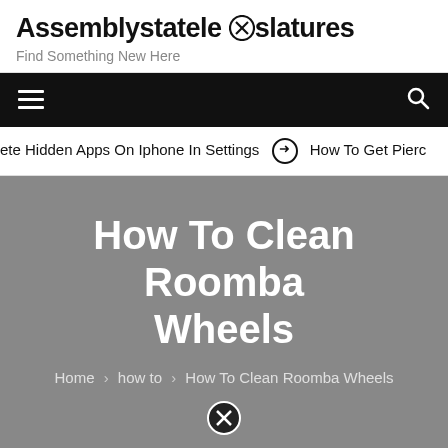Assemblystatelegislatures — Find Something New Here
≡  🔍
ete Hidden Apps On Iphone In Settings  ➡  How To Get Pierc
How To Clean Roomba Wheels
Home › how to › How To Clean Roomba Wheels